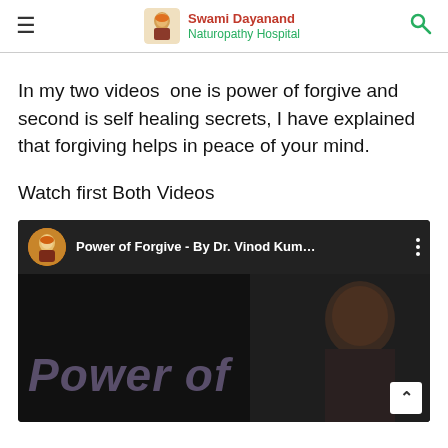Swami Dayanand Naturopathy Hospital
In my two videos  one is power of forgive and second is self healing secrets, I have explained that forgiving helps in peace of your mind.
Watch first Both Videos
[Figure (screenshot): YouTube video player showing 'Power of Forgive - By Dr. Vinod Kum...' with a circular channel avatar, video title bar, and thumbnail showing 'Power of' text overlay and a person on the right side.]